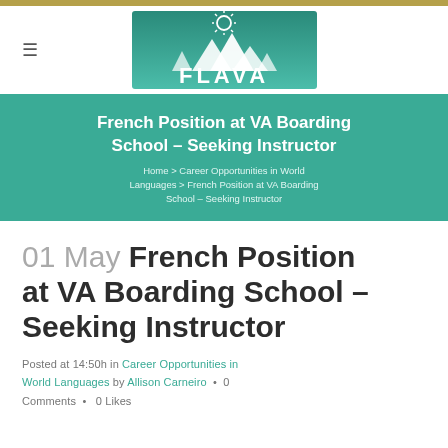[Figure (logo): FLAVA organization logo — teal/green gradient background with sun and mountain silhouettes, white text reading FLAVA]
French Position at VA Boarding School – Seeking Instructor
Home > Career Opportunities in World Languages > French Position at VA Boarding School – Seeking Instructor
01 May French Position at VA Boarding School – Seeking Instructor
Posted at 14:50h in Career Opportunities in World Languages by Allison Carneiro · 0 Comments · 0 Likes